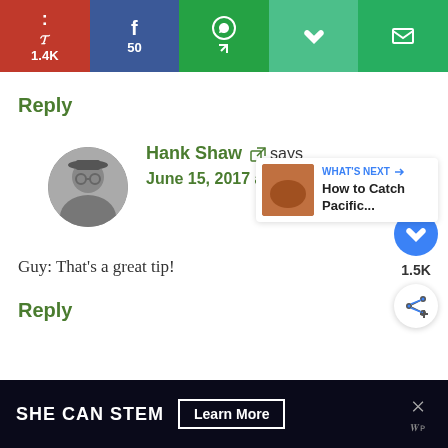[Figure (infographic): Social share bar with Pinterest (1.4K), Facebook (50), WhatsApp, Save, and Email buttons]
Reply
[Figure (photo): Avatar photo of Hank Shaw in grayscale]
Hank Shaw says
June 15, 2017 at 12:15 pm
Guy: That's a great tip!
Reply
[Figure (infographic): Floating like button (heart icon, 1.5K count) and share button widget on right side]
[Figure (infographic): What's Next panel showing thumbnail and text 'How to Catch Pacific...']
[Figure (infographic): Advertisement banner: SHE CAN STEM with Learn More button]